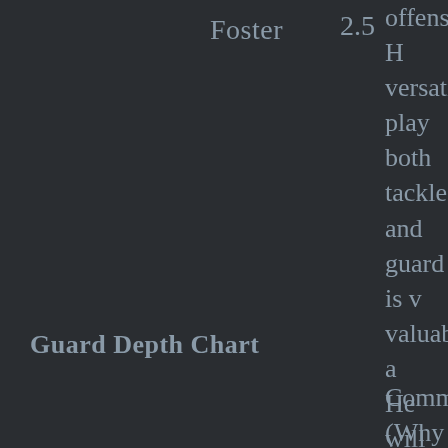Foster    2.5
offense. His versatility to play both tackle and guard is very valuable asset. He will compete with Edwin Williams for a starting guard.
Guard Depth Chart
Comments (Why you picked th...